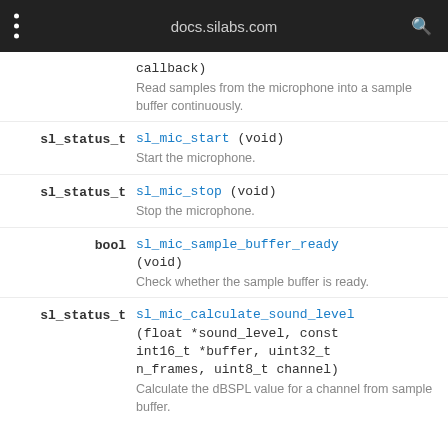docs.silabs.com
callback)
Read samples from the microphone into a sample buffer continuously.
sl_status_t sl_mic_start (void)
Start the microphone.
sl_status_t sl_mic_stop (void)
Stop the microphone.
bool sl_mic_sample_buffer_ready (void)
Check whether the sample buffer is ready.
sl_status_t sl_mic_calculate_sound_level (float *sound_level, const int16_t *buffer, uint32_t n_frames, uint8_t channel)
Calculate the dBSPL value for a channel from sample buffer.